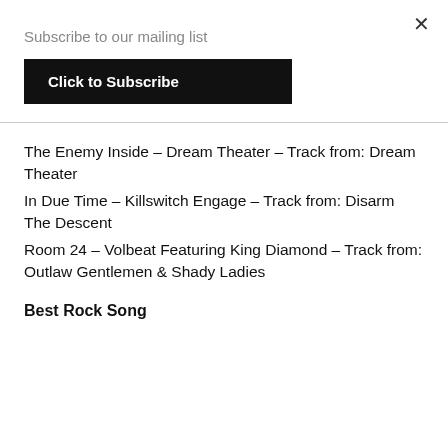Subscribe to our mailing list
Click to Subscribe
The Enemy Inside – Dream Theater – Track from: Dream Theater
In Due Time – Killswitch Engage – Track from: Disarm The Descent
Room 24 – Volbeat Featuring King Diamond – Track from: Outlaw Gentlemen & Shady Ladies
Best Rock Song